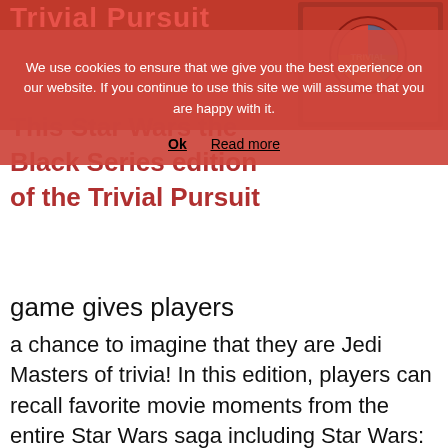Trivial Pursuit
[Figure (photo): Star Wars The Black Series Trivial Pursuit game box, red themed packaging with TRIVIAL PURSUIT text visible]
We use cookies to ensure that we give you the best experience on our website. If you continue to use this site we will assume that you are happy with it.
Ok   Read more
This Star Wars the Black Series edition of the Trivial Pursuit game gives players a chance to imagine that they are Jedi Masters of trivia! In this edition, players can recall favorite movie moments from the entire Star Wars saga including Star Wars: The Force Awakens. The game includes 1,800 questions in 6 Star Wars themed categories: The Cantina, The Force, Heroes, Villains and Scoundrels, The Saga, A Galaxy Far, Far Away, and Hyperspace. Players